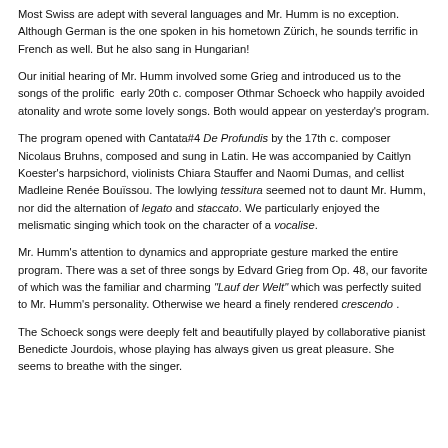Most Swiss are adept with several languages and Mr. Humm is no exception. Although German is the one spoken in his hometown Zürich, he sounds terrific in French as well. But he also sang in Hungarian!
Our initial hearing of Mr. Humm involved some Grieg and introduced us to the songs of the prolific early 20th c. composer Othmar Schoeck who happily avoided atonality and wrote some lovely songs. Both would appear on yesterday's program.
The program opened with Cantata#4 De Profundis by the 17th c. composer Nicolaus Bruhns, composed and sung in Latin. He was accompanied by Caitlyn Koester's harpsichord, violinists Chiara Stauffer and Naomi Dumas, and cellist Madleine Renée Bouïssou. The lowlying tessitura seemed not to daunt Mr. Humm, nor did the alternation of legato and staccato. We particularly enjoyed the melismatic singing which took on the character of a vocalise.
Mr. Humm's attention to dynamics and appropriate gesture marked the entire program. There was a set of three songs by Edvard Grieg from Op. 48, our favorite of which was the familiar and charming "Lauf der Welt" which was perfectly suited to Mr. Humm's personality. Otherwise we heard a finely rendered crescendo .
The Schoeck songs were deeply felt and beautifully played by collaborative pianist Benedicte Jourdois, whose playing has always given us great pleasure. She seems to breathe with the singer.